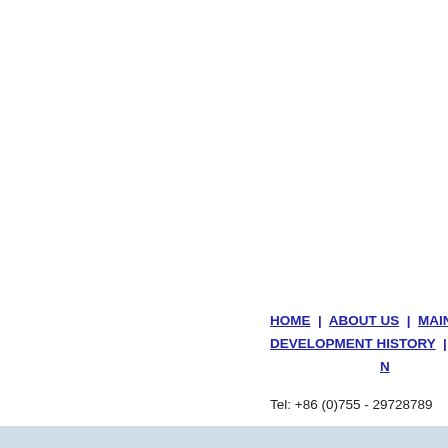HOME | ABOUT US | MAIN PRO... DEVELOPMENT HISTORY | COMPA... N...
Tel: +86 (0)755 - 29728789    F...
E...
Manufacture Add: 4th Floor, Building... Ne...